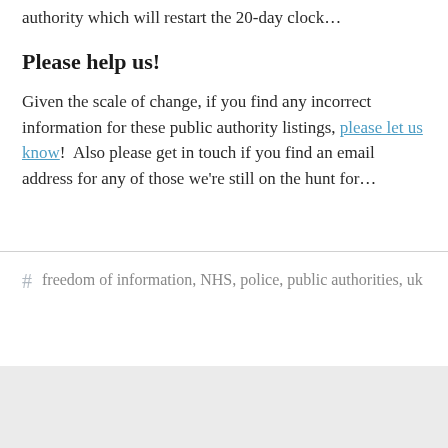authority which will restart the 20-day clock…
Please help us!
Given the scale of change, if you find any incorrect information for these public authority listings, please let us know!  Also please get in touch if you find an email address for any of those we're still on the hunt for…
# freedom of information, NHS, police, public authorities, uk